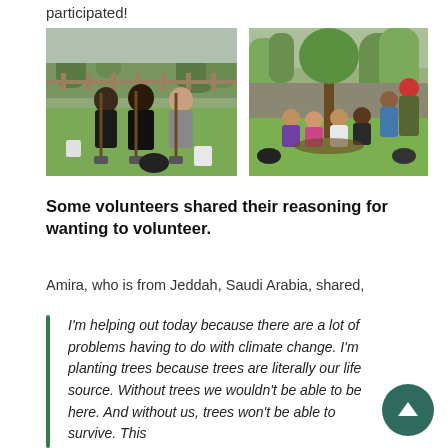participated!
[Figure (photo): Two young men standing with shovels in a grassy outdoor area with trees and a fence in the background, with a white bucket nearby.]
[Figure (photo): A group of young women crouching around a small tree they have planted, outdoors with green trees and a wooden fence in the background.]
Some volunteers shared their reasoning for wanting to volunteer.
Amira, who is from Jeddah, Saudi Arabia, shared,
I'm helping out today because there are a lot of problems having to do with climate change. I'm planting trees because trees are literally our life source. Without trees we wouldn't be able to be here. And without us, trees won't be able to survive. This